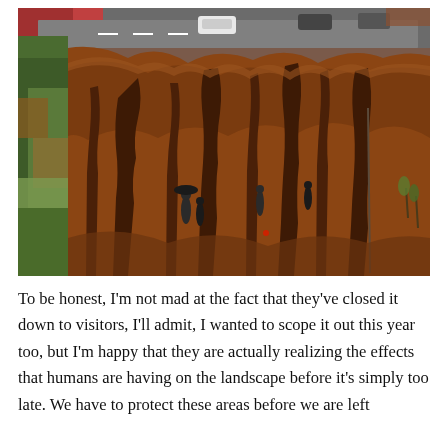[Figure (photo): Aerial view of deeply eroded reddish-brown badlands terrain with gullies and ridges. Several people are visible standing on the landscape. A road with parked cars and autumn-colored trees is visible at the top. Green foliage occupies the left edge.]
To be honest, I'm not mad at the fact that they've closed it down to visitors, I'll admit, I wanted to scope it out this year too, but I'm happy that they are actually realizing the effects that humans are having on the landscape before it's simply too late. We have to protect these areas before we are left